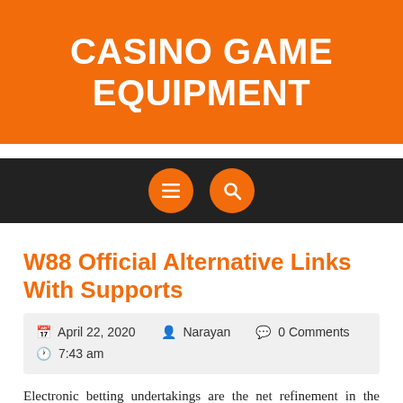CASINO GAME EQUIPMENT
[Figure (other): Navigation bar with dark background, two orange circular buttons: menu (hamburger) and search (magnifying glass)]
W88 Official Alternative Links With Supports
April 22, 2020   Narayan   0 Comments   7:43 am
Electronic betting undertakings are the net refinement in the praised club regions, which enable gamers to bet on